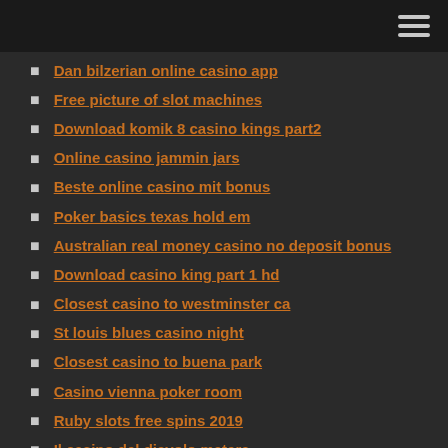Dan bilzerian online casino app
Free picture of slot machines
Download komik 8 casino kings part2
Online casino jammin jars
Beste online casino mit bonus
Poker basics texas hold em
Australian real money casino no deposit bonus
Download casino king part 1 hd
Closest casino to westminster ca
St louis blues casino night
Closest casino to buena park
Casino vienna poker room
Ruby slots free spins 2019
Il casino del diavolo matera